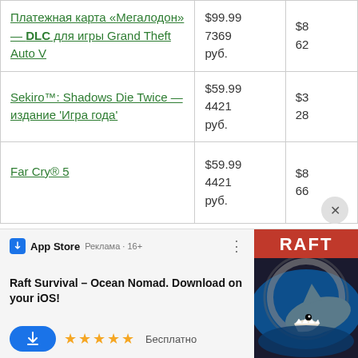| Название | Цена |  |
| --- | --- | --- |
| Платежная карта «Мегалодон» — DLC для игры Grand Theft Auto V | $99.99
7369
руб. | $8
62 |
| Sekiro™: Shadows Die Twice — издание 'Игра года' | $59.99
4421
руб. | $3
28 |
| Far Cry® 5 | $59.99
4421
руб. | $8
66 |
[Figure (screenshot): App Store advertisement banner for Raft Survival – Ocean Nomad iOS game. Shows App Store icon, 'Реклама·16+' label, dots menu, bold title 'Raft Survival – Ocean Nomad. Download on your iOS!', blue download button, 5 gold stars, 'Бесплатно' text, and RAFT game cover image with shark.]